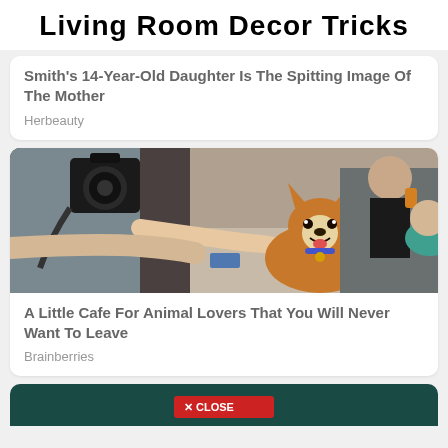Living Room Decor Tricks
Smith's 14-Year-Old Daughter Is The Spitting Image Of The Mother
Herbeauty
[Figure (photo): A person petting a happy Corgi dog at what appears to be an outdoor cafe, with a photographer holding a camera in the foreground and people sitting in the background.]
A Little Cafe For Animal Lovers That You Will Never Want To Leave
Brainberries
[Figure (photo): Bottom of page partial image with a red CLOSE button overlay, dark teal/green background visible.]